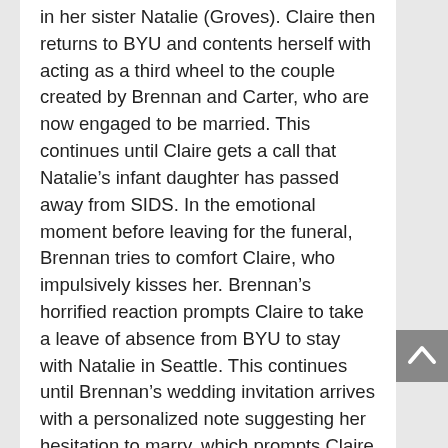in her sister Natalie (Groves). Claire then returns to BYU and contents herself with acting as a third wheel to the couple created by Brennan and Carter, who are now engaged to be married. This continues until Claire gets a call that Natalie's infant daughter has passed away from SIDS. In the emotional moment before leaving for the funeral, Brennan tries to comfort Claire, who impulsively kisses her. Brennan's horrified reaction prompts Claire to take a leave of absence from BYU to stay with Natalie in Seattle. This continues until Brennan's wedding invitation arrives with a personalized note suggesting her hesitation to marry, which prompts Claire to make a frenzied overnight drive to Arizona. She arrives just in time to see Brennan and Carter emerge from the Mesa LDS temple as man and wife and returns home on the brink of despair before rallying on in an attempt to reclaim her life.
Reaction to the Script: Having listened to the Little